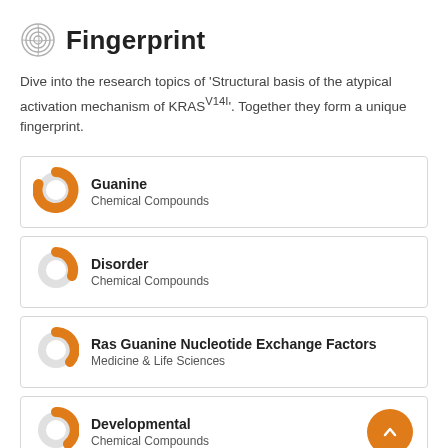Fingerprint
Dive into the research topics of 'Structural basis of the atypical activation mechanism of KRASV14I'. Together they form a unique fingerprint.
Guanine
Chemical Compounds
Disorder
Chemical Compounds
Ras Guanine Nucleotide Exchange Factors
Medicine & Life Sciences
Developmental
Chemical Compounds
Nucleotide (partial)